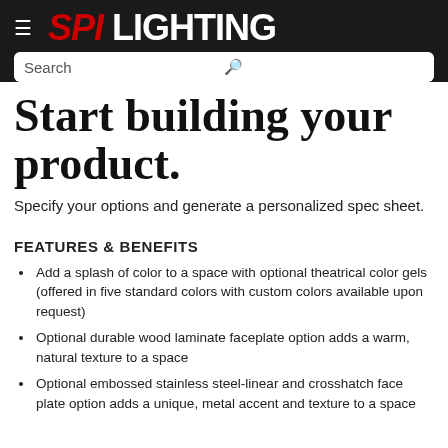SPI LIGHTING
Start building your product.
Specify your options and generate a personalized spec sheet.
FEATURES & BENEFITS
Add a splash of color to a space with optional theatrical color gels (offered in five standard colors with custom colors available upon request)
Optional durable wood laminate faceplate option adds a warm, natural texture to a space
Optional embossed stainless steel-linear and crosshatch face plate option adds a unique, metal accent and texture to a space